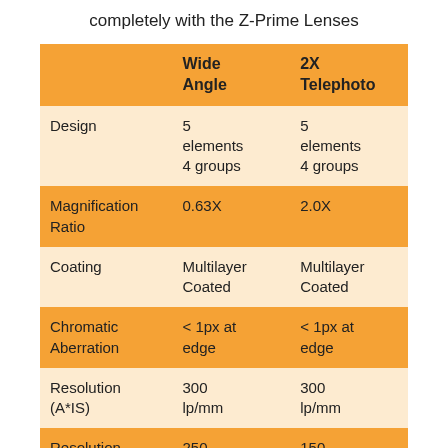completely with the Z-Prime Lenses
|  | Wide Angle | 2X Telephoto |
| --- | --- | --- |
| Design | 5 elements 4 groups | 5 elements 4 groups |
| Magnification Ratio | 0.63X | 2.0X |
| Coating | Multilayer Coated | Multilayer Coated |
| Chromatic Aberration | < 1px at edge | < 1px at edge |
| Resolution (A*IS) | 300 lp/mm | 300 lp/mm |
| Resolution (Corner) | 250 lp/mm | 150 lp/mm |